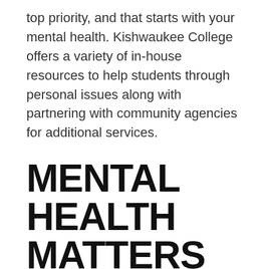top priority, and that starts with your mental health. Kishwaukee College offers a variety of in-house resources to help students through personal issues along with partnering with community agencies for additional services.
MENTAL HEALTH MATTERS
Our quarterly newsletter, Mental Health Matters, is a campus guide for student concerns, offering up-to-date information on how Kish promotes mental well-being. Find the latest issues below.